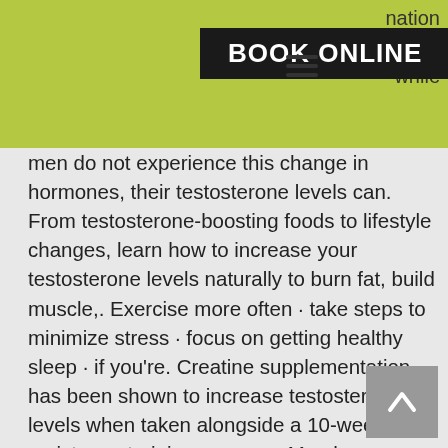nation ast while BOOK ONLINE
men do not experience this change in hormones, their testosterone levels can. From testosterone-boosting foods to lifestyle changes, learn how to increase your testosterone levels naturally to burn fat, build muscle,. Exercise more often · take steps to minimize stress · focus on getting healthy sleep · if you're. Creatine supplementation has been shown to increase testosterone levels when taken alongside a 10-week resistance training program. Men have some specific needs when it comes to diet, and many studies suggest that eating the right foods can keep the prostate healthy and testosterone levels. A testosterone levels test measures testosterone in the blood. Low or high levels may be a sign of a health problem in men, women, or boys. The more